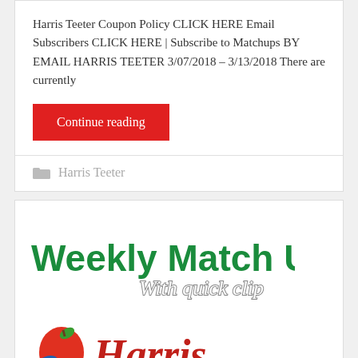Harris Teeter Coupon Policy CLICK HERE Email Subscribers CLICK HERE | Subscribe to Matchups BY EMAIL HARRIS TEETER 3/07/2018 – 3/13/2018 There are currently
Continue reading
Harris Teeter
[Figure (illustration): Weekly Match Up with quick clip logo in green bold letters, with 'With quick clip' in white italic script below, followed by Harris Teeter store logo with apple and bird graphic]